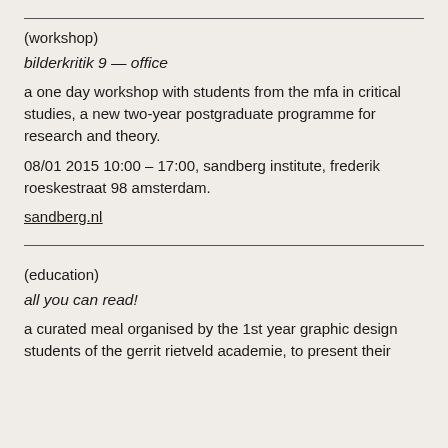(workshop)
bilderkritik 9 — office
a one day workshop with students from the mfa in critical studies, a new two-year postgraduate programme for research and theory.
08/01 2015 10:00 – 17:00, sandberg institute, frederik roeskestraat 98 amsterdam.
sandberg.nl
(education)
all you can read!
a curated meal organised by the 1st year graphic design students of the gerrit rietveld academie, to present their